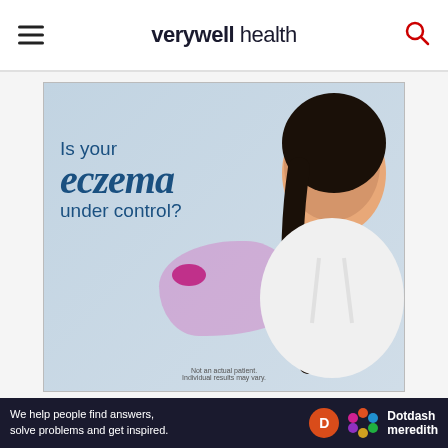verywell health
[Figure (photo): Advertisement banner featuring a smiling Asian woman with dark hair, with text 'Is your eczema under control?' and decorative pink/purple blob shapes on a light blue background. Disclaimer text: 'Not an actual patient. Individual results may vary.']
Advertisement
[Figure (other): Gray advertisement placeholder bar with 'Ad' label on the right]
We help people find answers, solve problems and get inspired. Dotdash meredith